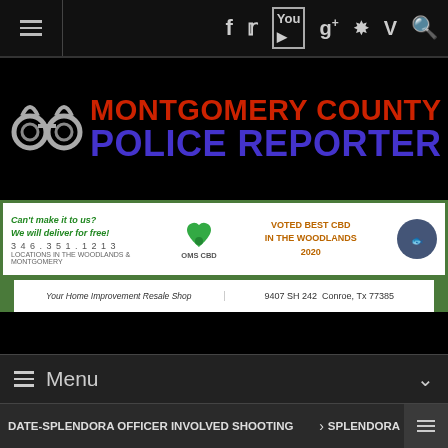Montgomery County Police Reporter - navigation bar with social icons
[Figure (logo): Montgomery County Police Reporter logo with handcuffs icon and red/purple text]
[Figure (infographic): Advertisement banner: Can't make it to us? We will deliver for free! 346.351.1213 LOCATIONS IN THE WOODLANDS & MONTGOMERY - OMS CBD with green heart logo - VOTED BEST CBD IN THE WOODLANDS 2020]
[Figure (infographic): Second ad banner: Your Home Improvement Resale Shop - 9407 SH 242 Conroe, Tx 77385]
Menu
DATE-SPLENDORA OFFICER INVOLVED SHOOTING > SPLENDORA
Posted: 23.5.2016 21:23
Kingwood Tragedy Update– Names Released